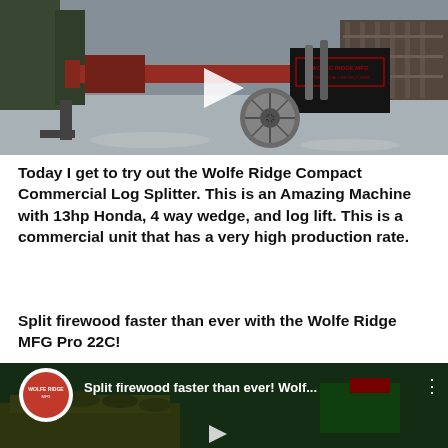[Figure (photo): A red Wolfe Ridge Compact Commercial Log Splitter on a snowy outdoor surface, with a play button overlay indicating a video thumbnail. Machine features large wheel, red beam, and black engine with Wolfe Ridge MFG branding.]
Today I get to try out the Wolfe Ridge Compact Commercial Log Splitter. This is an Amazing Machine with 13hp Honda, 4 way wedge, and log lift. This is a commercial unit that has a very high production rate.
Split firewood faster than ever with the Wolfe Ridge MFG Pro 22C!
[Figure (screenshot): YouTube video thumbnail showing 'Split firewood faster than ever! Wolf...' with Wolfe Ridge MFG channel icon on the left, a pile of split firewood and a log splitter machine visible in the background, dark overlay with video title text.]